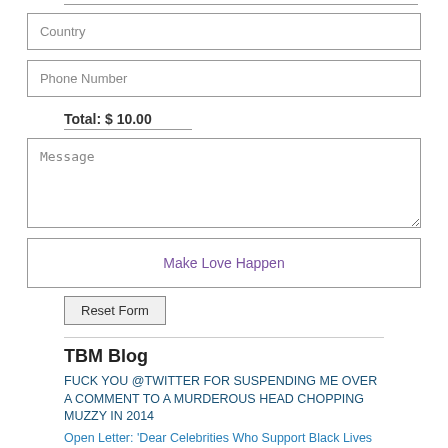[Figure (screenshot): Form input field with placeholder text 'Country']
[Figure (screenshot): Form input field with placeholder text 'Phone Number']
Total: $ 10.00
[Figure (screenshot): Textarea form field with placeholder text 'Message']
[Figure (screenshot): Submit button labeled 'Make Love Happen']
[Figure (screenshot): Reset button labeled 'Reset Form']
TBM Blog
FUCK YOU @TWITTER FOR SUSPENDING ME OVER A COMMENT TO A MURDEROUS HEAD CHOPPING MUZZY IN 2014
Open Letter: 'Dear Celebrities Who Support Black Lives Matter…' | ThePlans.com